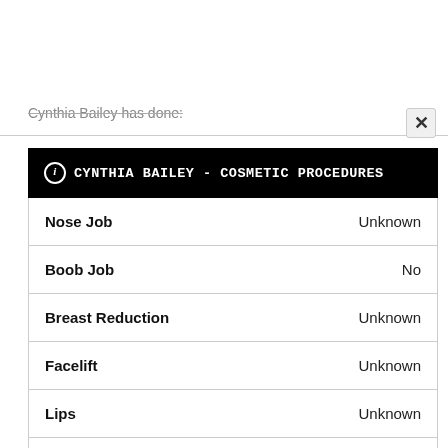Cynthia Bailey has done:
| ⓘ CYNTHIA BAILEY - COSMETIC PROCEDURES |  |
| --- | --- |
| Nose Job | Unknown |
| Boob Job | No |
| Breast Reduction | Unknown |
| Facelift | Unknown |
| Lips | Unknown |
| Fillers | Unknown |
| Botox | Unknown |